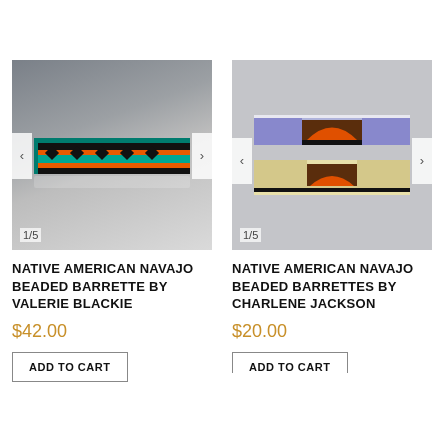[Figure (photo): Native American Navajo beaded barrette with teal/turquoise, black, orange and yellow geometric pattern on gray gradient background. Navigation arrows on sides. Counter shows 1/5.]
NATIVE AMERICAN NAVAJO BEADED BARRETTE BY VALERIE BLACKIE
$42.00
ADD TO CART
[Figure (photo): Native American Navajo beaded barrettes (pair) with blue/purple, brown, orange and white geometric mountain/arch pattern on light gray background. Navigation arrows on sides. Counter shows 1/5.]
NATIVE AMERICAN NAVAJO BEADED BARRETTES BY CHARLENE JACKSON
$20.00
ADD TO CART